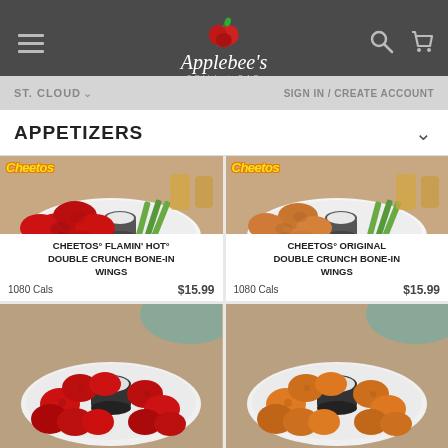Applebee's Grill + Bar – ST. CLOUD | SIGN IN / CREATE ACCOUNT
APPETIZERS
[Figure (photo): Cheetos Flamin Hot Double Crunch Bone-In Wings on a white plate with celery and dipping sauce, Cheetos logo in corner]
CHEETOS° FLAMIN' HOT° DOUBLE CRUNCH BONE-IN WINGS
1080 Cals   $15.99
[Figure (photo): Cheetos Original Double Crunch Bone-In Wings on a white plate with celery and dipping sauce, Cheetos logo in corner]
CHEETOS° ORIGINAL DOUBLE CRUNCH BONE-IN WINGS
1080 Cals   $15.99
[Figure (photo): Red Cheetos coated boneless wings on a white plate with dipping sauce]
[Figure (photo): Orange Cheetos coated boneless wings on a white plate with dipping sauce]